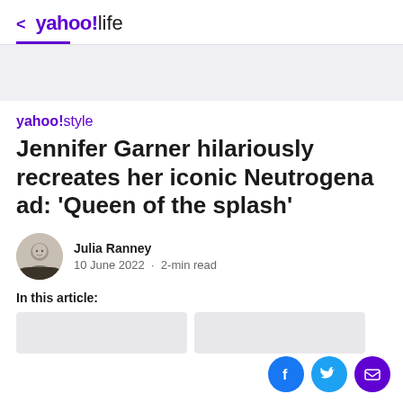< yahoo!life
[Figure (other): Gray advertisement banner placeholder]
yahoo!style
Jennifer Garner hilariously recreates her iconic Neutrogena ad: 'Queen of the splash'
Julia Ranney · 10 June 2022 · 2-min read
In this article: